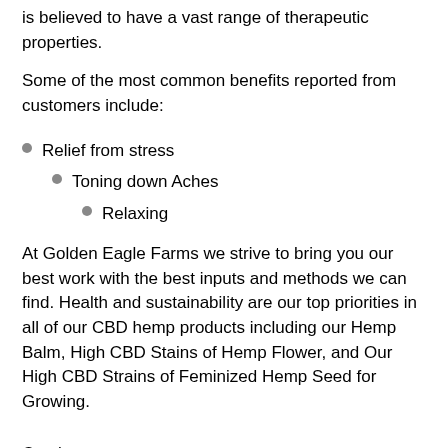is believed to have a vast range of therapeutic properties.
Some of the most common benefits reported from customers include:
Relief from stress
Toning down Aches
Relaxing
At Golden Eagle Farms we strive to bring you our best work with the best inputs and methods we can find. Health and sustainability are our top priorities in all of our CBD hemp products including our Hemp Balm, High CBD Stains of Hemp Flower, and Our High CBD Strains of Feminized Hemp Seed for Growing.
Caution
Do not use the product while operating a vehicle or